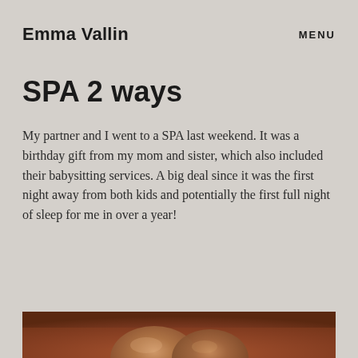Emma Vallin
MENU
SPA 2 ways
My partner and I went to a SPA last weekend. It was a birthday gift from my mom and sister, which also included their babysitting services. A big deal since it was the first night away from both kids and potentially the first full night of sleep for me in over a year!
[Figure (photo): Close-up photo of spa stones on a warm brown/terracotta background, partially visible at bottom of page]